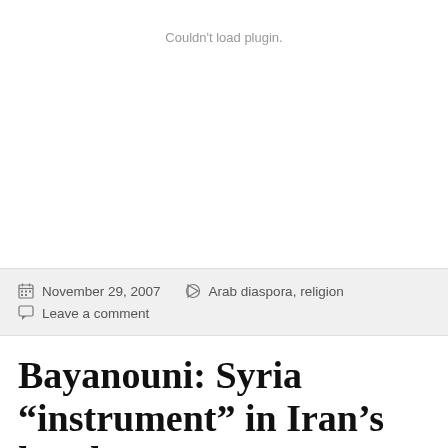[Figure (other): Plugin placeholder area with 'Couldn't load plugin.' message]
November 29, 2007   Arab diaspora, religion
Leave a comment
Bayanouni: Syria “instrument” in Iran’s hands